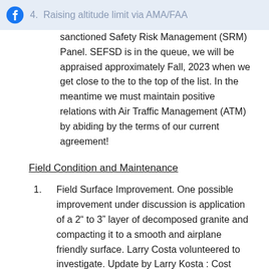4. Raising altitude limit via AMA/FAA
sanctioned Safety Risk Management (SRM) Panel. SEFSD is in the queue, we will be appraised approximately Fall, 2023 when we get close to the to the top of the list. In the meantime we must maintain positive relations with Air Traffic Management (ATM) by abiding by the terms of our current agreement!
Field Condition and Maintenance
Field Surface Improvement. One possible improvement under discussion is application of a 2” to 3” layer of decomposed granite and compacting it to a smooth and airplane friendly surface. Larry Costa volunteered to investigate. Update by Larry Kosta : Cost